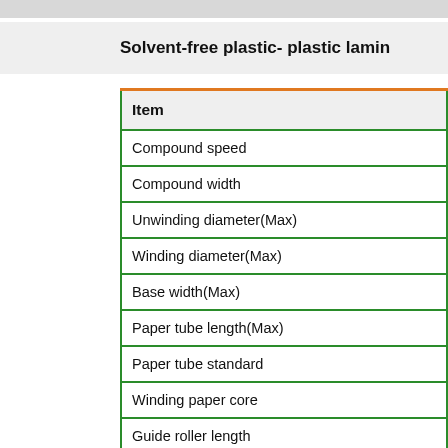Solvent-free plastic- plastic lamin
| Item |
| --- |
| Compound speed |
| Compound width |
| Unwinding diameter(Max) |
| Winding diameter(Max) |
| Base width(Max) |
| Paper tube length(Max) |
| Paper tube standard |
| Winding paper core |
| Guide roller length |
| Coating weight |